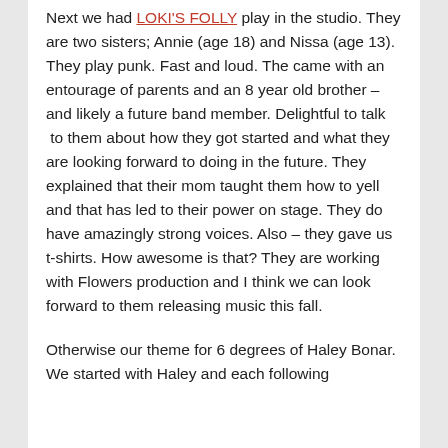Next we had LOKI'S FOLLY play in the studio. They are two sisters; Annie (age 18) and Nissa (age 13). They play punk. Fast and loud. The came with an entourage of parents and an 8 year old brother – and likely a future band member. Delightful to talk  to them about how they got started and what they are looking forward to doing in the future. They explained that their mom taught them how to yell and that has led to their power on stage. They do have amazingly strong voices. Also – they gave us t-shirts. How awesome is that? They are working with Flowers production and I think we can look forward to them releasing music this fall.
Otherwise our theme for 6 degrees of Haley Bonar. We started with Haley and each following